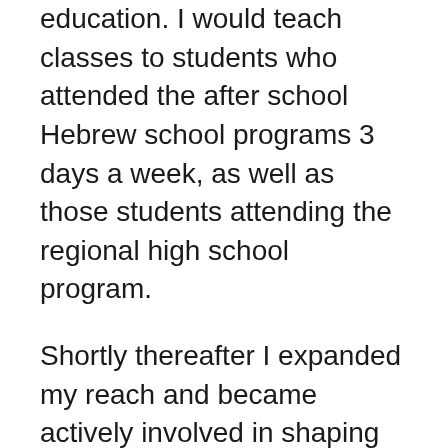education. I would teach classes to students who attended the after school Hebrew school programs 3 days a week, as well as those students attending the regional high school program.
Shortly thereafter I expanded my reach and became actively involved in shaping then ways Jewish values could be integrated into the lives of these kids by becoming Youth Director.
In addition I always accepted opportunities to engage in adult education since many of the parents of the students whom I reached would say they wish they would have had someone like me teaching them when they were in school. The Worcester community